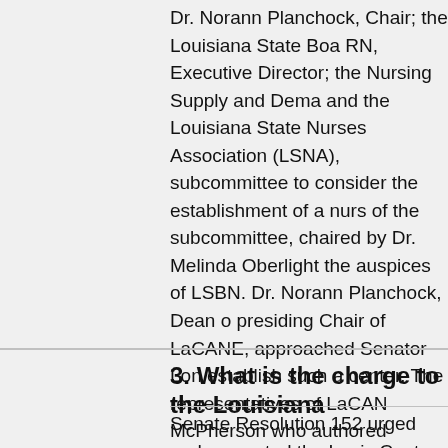Dr. Norann Planchock, Chair; the Louisiana State Boa RN, Executive Director; the Nursing Supply and Dema and the Louisiana State Nurses Association (LSNA), subcommittee to consider the establishment of a nurs of the subcommittee, chaired by Dr. Melinda Oberlight the auspices of LSBN. Dr. Norann Planchock, Dean o presiding Chair of LaCANE, approached Senator Lon establish such a center. The representatives of LaCAN McPherson who authored previous legislation to crea Commission) and he agreed to coauthor the resolutio the enabling resolution. Senator Mount, Chair of the S Senator Michot signed on in support.
Senate Resolution 152, authored by Senator Gerald L McPherson, Mount and Michot urged and requested L in Louisiana and was met with success during the 200
Return to Top
3. What is the charge to the Louisiana
Senate Resolution 152 urged and requested the Louis Center for Nursing with the following charges: